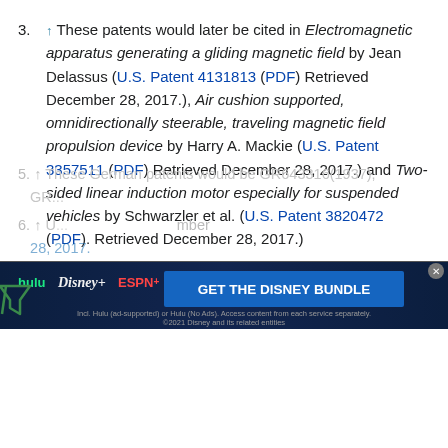3. ↑ These patents would later be cited in Electromagnetic apparatus generating a gliding magnetic field by Jean Delassus (U.S. Patent 4131813 (PDF) Retrieved December 28, 2017.), Air cushion supported, omnidirectionally steerable, traveling magnetic field propulsion device by Harry A. Mackie (U.S. Patent 3357511 (PDF) Retrieved December 28, 2017.) and Two-sided linear induction motor especially for suspended vehicles by Schwarzler et al. (U.S. Patent 3820472 (PDF). Retrieved December 28, 2017.)
4. ↑ U.S. Patent 859018 (PDF), Jul 2, 1907. Retrieved December 28, 2017.
5. ↑ These German patents would be GR643316(1937), GR...
6. ↑ U... December 28, 2017.
[Figure (screenshot): Advertisement banner for Disney Bundle (Hulu, Disney+, ESPN+) with dark blue background and GET THE DISNEY BUNDLE CTA button]